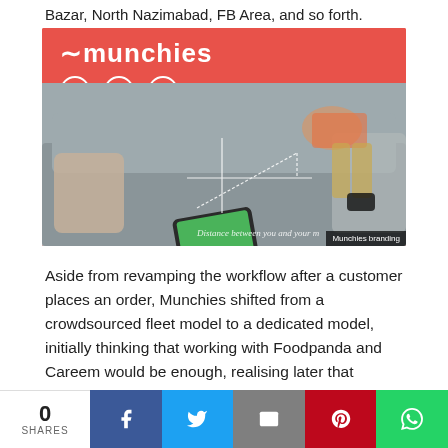Bazar, North Nazimabad, FB Area, and so forth.
[Figure (photo): Munchies app branding image showing a child lying on a grey couch with a red background header containing the Munchies logo and icons, and a math graph overlay. Caption reads 'Munchies branding'.]
Aside from revamping the workflow after a customer places an order, Munchies shifted from a crowdsourced fleet model to a dedicated model, initially thinking that working with Foodpanda and Careem would be enough, realising later that Munchies would need build equity to attract delivery bikers in downloading the app.
0 SHARES | Facebook | Twitter | Email | Pinterest | WhatsApp